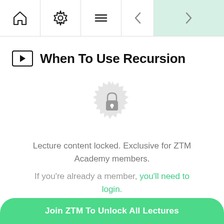Navigation bar with home, settings, menu, back, and next icons
When To Use Recursion
[Figure (illustration): A circular decorative badge/seal icon in light gray with a lock icon in the center, indicating locked content.]
Lecture content locked. Exclusive for ZTM Academy members.
If you're already a member, you'll need to login.
Join ZTM To Unlock All Lectures